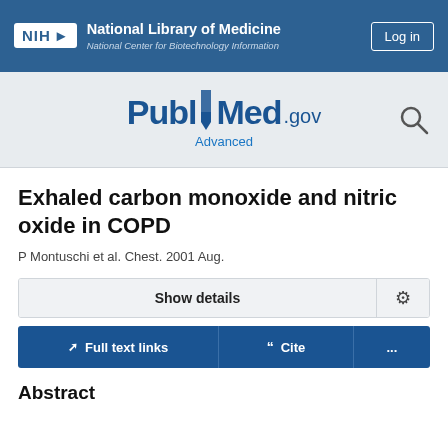NIH National Library of Medicine National Center for Biotechnology Information | Log in
[Figure (logo): PubMed.gov logo with Advanced link and search icon]
Exhaled carbon monoxide and nitric oxide in COPD
P Montuschi et al. Chest. 2001 Aug.
Show details
Full text links | Cite | ...
Abstract